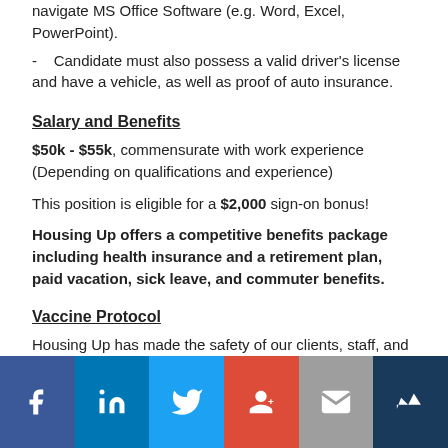navigate MS Office Software (e.g. Word, Excel, PowerPoint).
- Candidate must also possess a valid driver's license and have a vehicle, as well as proof of auto insurance.
Salary and Benefits
$50k - $55k, commensurate with work experience (Depending on qualifications and experience)
This position is eligible for a $2,000 sign-on bonus!
Housing Up offers a competitive benefits package including health insurance and a retirement plan, paid vacation, sick leave, and commuter benefits.
Vaccine Protocol
Housing Up has made the safety of our clients, staff, and our surrounding communities a top priority. As part of that commitment, the organization that all are required to be vaccinated against COVID-19 upon joining our li...